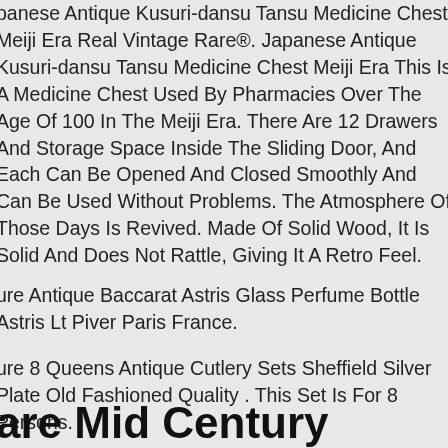Japanese Antique Kusuri-dansu Tansu Medicine Chest Meiji Era Real Vintage Rare®. Japanese Antique Kusuri-dansu Tansu Medicine Chest Meiji Era This Is A Medicine Chest Used By Pharmacies Over The Age Of 100 In The Meiji Era. There Are 12 Drawers And Storage Space Inside The Sliding Door, And Each Can Be Opened And Closed Smoothly And Can Be Used Without Problems. The Atmosphere Of Those Days Is Revived. Made Of Solid Wood, It Is Solid And Does Not Rattle, Giving It A Retro Feel.
Rare Antique Baccarat Astris Glass Perfume Bottle Astris Lt Piver Paris France.
Rare 8 Queens Antique Cutlery Sets Sheffield Silver Plate Old Fashioned Quality . This Set Is For 8 Persons.
Rare Mid Century Modern Lamp 1960s Spaghetti Lucite & Danish Teak Wood Light